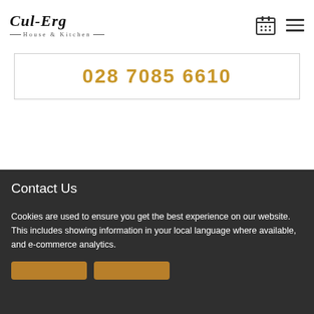[Figure (logo): Cul-Erg House & Kitchen logo with serif bold text and decorative lines]
028 7085 6610
Contact Us
Cookies are used to ensure you get the best experience on our website. This includes showing information in your local language where available, and e-commerce analytics.